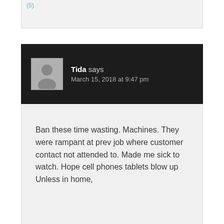(5)
Tida says
March 15, 2018 at 9:47 pm
Ban these time wasting. Machines. They were rampant at prev job where customer contact not attended to. Made me sick to watch. Hope cell phones tablets blow up
Unless in home,
Reply